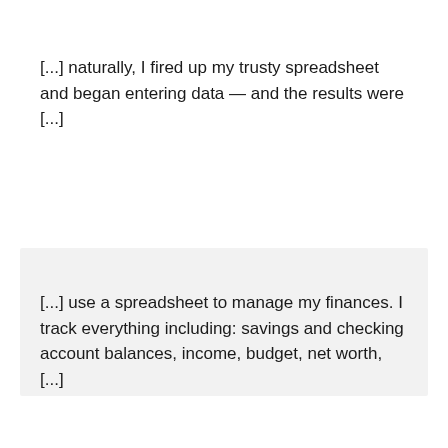[...] naturally, I fired up my trusty spreadsheet and began entering data — and the results were [...]
[...] use a spreadsheet to manage my finances. I track everything including: savings and checking account balances, income, budget, net worth, [...]